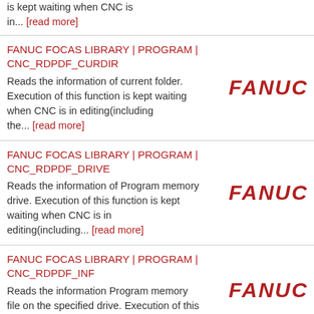is kept waiting when CNC is in... [read more]
FANUC FOCAS LIBRARY | PROGRAM | CNC_RDPDF_CURDIR
Reads the information of current folder. Execution of this function is kept waiting when CNC is in editing(including the... [read more]
[Figure (logo): FANUC logo in red bold italic text]
FANUC FOCAS LIBRARY | PROGRAM | CNC_RDPDF_DRIVE
Reads the information of Program memory drive. Execution of this function is kept waiting when CNC is in editing(including... [read more]
[Figure (logo): FANUC logo in red bold italic text]
FANUC FOCAS LIBRARY | PROGRAM | CNC_RDPDF_INF
Reads the information Program memory file on the specified drive. Execution of this function is kept waiting when CNC
[Figure (logo): FANUC logo in red bold italic text]